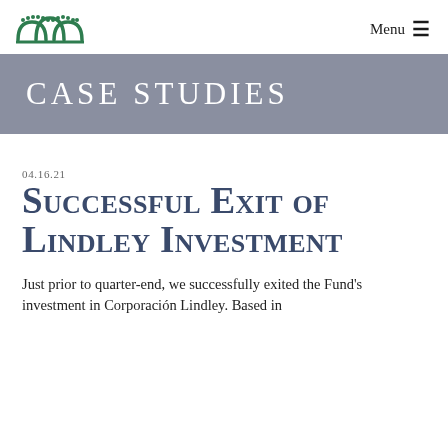Menu
Case Studies
04.16.21
Successful Exit of Lindley Investment
Just prior to quarter-end, we successfully exited the Fund's investment in Corporación Lindley. Based in